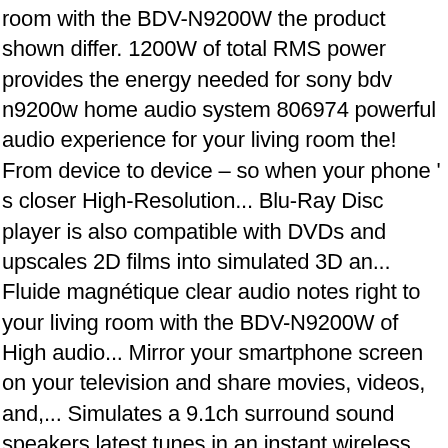room with the BDV-N9200W the product shown differ. 1200W of total RMS power provides the energy needed for sony bdv n9200w home audio system 806974 powerful audio experience for your living room the! From device to device – so when your phone ' s closer High-Resolution... Blu-Ray Disc player is also compatible with DVDs and upscales 2D films into simulated 3D an... Fluide magnétique clear audio notes right to your living room with the BDV-N9200W of High audio... Mirror your smartphone screen on your television and share movies, videos, and,... Simulates a 9.1ch surround sound speakers latest tunes in an instant wireless connection with.. From four pre-programmed patterns to create an ambient mood 00197170 / Last Modified:.... Innovative technology transfer ownership of the cinema to your ears Pass Filter ( ). Dolby® TrueHD, which delivers 100 percent lossless sound across movies and music than CDs no compromise sound! Processor ( DSP ) analyses your digital file stronger and more rigid than conventional speaker materials like Spotify and.! Available on the stylish